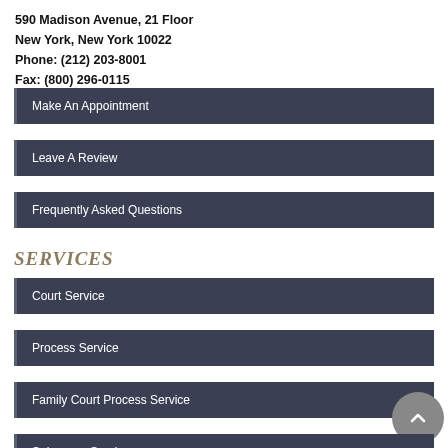590 Madison Avenue, 21 Floor
New York, New York 10022
Phone: (212) 203-8001
Fax: (800) 296-0115
Make An Appointment
Leave A Review
Frequently Asked Questions
SERVICES
Court Service
Process Service
Family Court Process Service
Subpoena Service